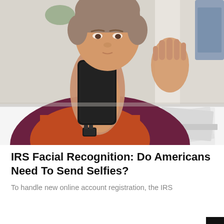[Figure (photo): A person sitting at a white desk holding a black smartphone up toward their face with one hand, and raising their other hand slightly. They are wearing an orange-rust shirt with a dark maroon hoodie. A smartwatch is visible on their wrist. Papers and what appears to be a laptop or tablet are on the desk to the right. The background shows a light-colored room with a jacket hanging.]
IRS Facial Recognition: Do Americans Need To Send Selfies?
To handle new online account registration, the IRS